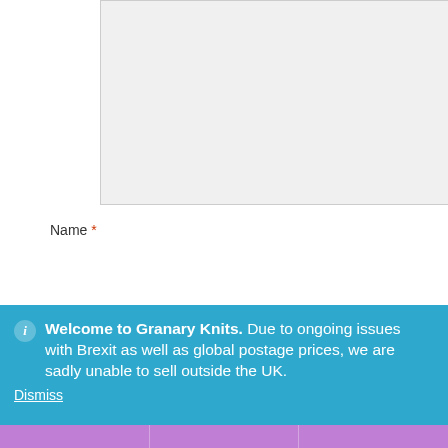[Figure (screenshot): A comment text area input box with light gray background and a resize handle in the bottom-right corner]
Name *
[Figure (screenshot): A name text input field with light gray background]
Welcome to Granary Knits. Due to ongoing issues with Brexit as well as global postage prices, we are sadly unable to sell outside the UK.
Dismiss
[Figure (infographic): Purple bottom navigation toolbar with three sections: user/account icon, search icon, and shopping cart icon with badge showing 0]